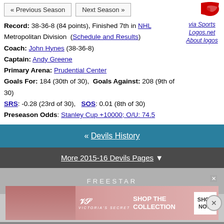« Previous Season   Next Season »
[Figure (logo): New Jersey Devils logo (partial, red devil graphic), with links 'via Sports Logos.net' and 'About logos']
Record: 38-36-8 (84 points), Finished 7th in NHL Metropolitan Division (Schedule and Results)
Coach: John Hynes (38-36-8)
Captain: Andy Greene
Primary Arena: Prudential Center
Goals For: 184 (30th of 30), Goals Against: 208 (9th of 30)
SRS: -0.28 (23rd of 30), SOS: 0.01 (8th of 30)
Preseason Odds: Stanley Cup +10000; O/U: 74.5
« Devils History
More 2015-16 Devils Pages ▼
[Figure (photo): Advertisement area: Freestar ad placeholder with Victoria's Secret 'Shop The Collection - Shop Now' advertisement below]
management